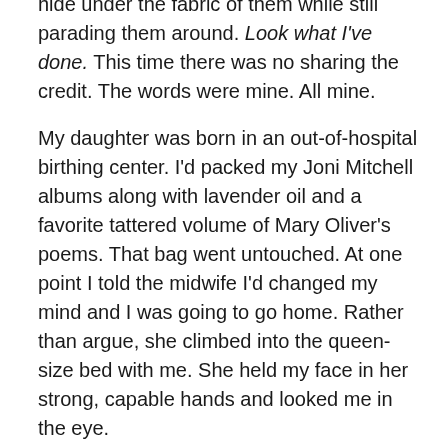hide under the fabric of them while still parading them around. Look what I've done. This time there was no sharing the credit. The words were mine. All mine.
My daughter was born in an out-of-hospital birthing center. I'd packed my Joni Mitchell albums along with lavender oil and a favorite tattered volume of Mary Oliver's poems. That bag went untouched. At one point I told the midwife I'd changed my mind and I was going to go home. Rather than argue, she climbed into the queen-size bed with me. She held my face in her strong, capable hands and looked me in the eye.
“Eileen, you’re in transition.”
That made all the difference. I knew I was close. I decided to stick it out. What choice did I have?